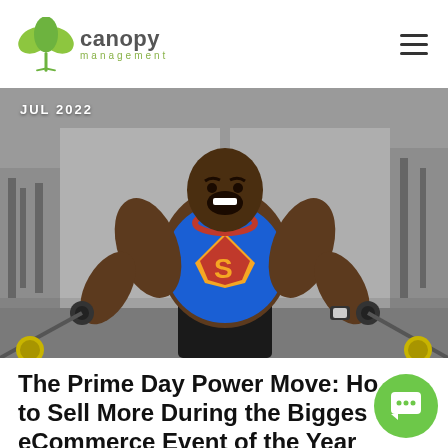canopy management
[Figure (photo): A muscular man wearing a Superman tank top doing cable fly exercises in a gym, mouth open in exertion, with gym equipment in background. JUL 2022 date label in top-left corner.]
The Prime Day Power Move: How to Sell More During the Biggest eCommerce Event of the Year